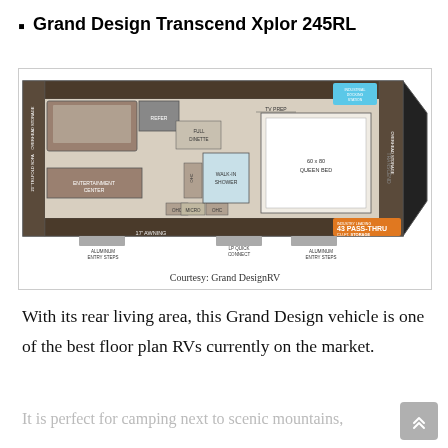Grand Design Transcend Xplor 245RL
[Figure (engineering-diagram): Floor plan of Grand Design Transcend Xplor 245RL RV showing layout with U-shaped dinette, refer, entertainment center, walk-in shower, 60x80 queen bed, overhead storage, OHC, micro, 17ft awning, aluminum entry steps, LP quick connect, and 43 cu.ft pass-thru storage. Courtesy: Grand DesignRV]
Courtesy: Grand DesignRV
With its rear living area, this Grand Design vehicle is one of the best floor plan RVs currently on the market.
It is perfect for camping next to scenic mountains,